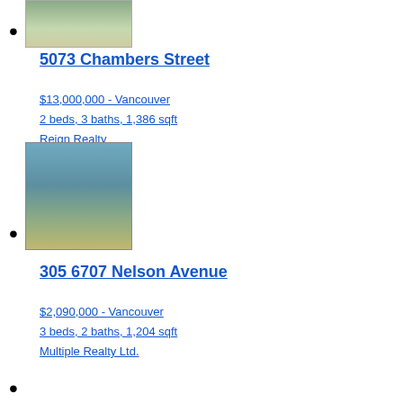[property image thumbnail]
5073 Chambers Street
$13,000,000 - Vancouver
2 beds, 3 baths, 1,386 sqft
Reign Realty
[property image - mountain/marina view]
305 6707 Nelson Avenue
$2,090,000 - Vancouver
3 beds, 2 baths, 1,204 sqft
Multiple Realty Ltd.
[partial bullet for next listing]
7050 N...